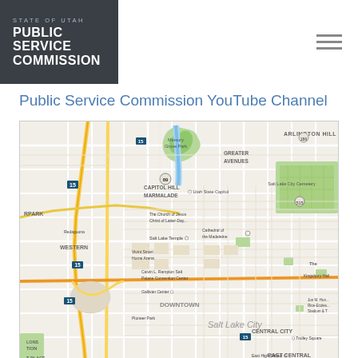STATE OF UTAH PUBLIC SERVICE COMMISSION
Public Service Commission YouTube Channel
[Figure (map): Street map of Salt Lake City, Utah showing downtown area including Capitol Hill, Marmalade, Greater Avenues, Arlington Hill, Western, Central City, East Central neighborhoods, and landmarks such as Utah State Capitol, Salt Lake Temple, Cathedral of the Madeleine, Calvin L. Rampton Salt Palace Convention Center, and Trolley Square.]